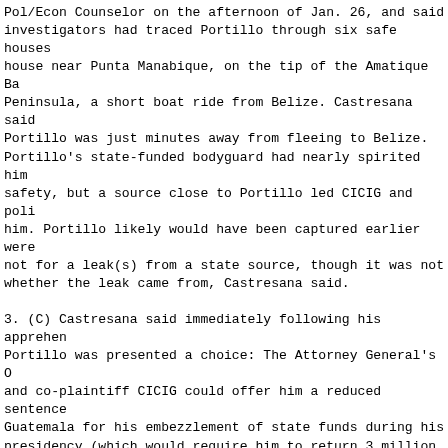Pol/Econ Counselor on the afternoon of Jan. 26, and said investigators had traced Portillo through six safe houses house near Punta Manabique, on the tip of the Amatique Ba Peninsula, a short boat ride from Belize. Castresana said Portillo was just minutes away from fleeing to Belize. Portillo's state-funded bodyguard had nearly spirited him safety, but a source close to Portillo led CICIG and poli him. Portillo likely would have been captured earlier were not for a leak(s) from a state source, though it was not whether the leak came from, Castresana said.
3. (C) Castresana said immediately following his apprehen Portillo was presented a choice: The Attorney General's O and co-plaintiff CICIG could offer him a reduced sentence Guatemala for his embezzlement of state funds during his presidency (which would require him to return 3 million B CICIG discovered in the Portillo Family's European accoun followed by immediate extradition to the U.S. to face mor laundering charges, which could carry a 10-20 year prison sentence. The USG now has 40 days to present its extradit request. Portillo's other choice would be to remain in detention at Guatemala City's dangerous Zone 18 Prison as contested Guatemalan criminal charges as well as extradit to the U.S. Castresana said Portillo's life could be at r if he chooses to remain in Guatemala. A powerful group of former senior military officers known collectively as "Th Brotherhood" ("La Cofradia," suspected of narcotrafficki other crimes), who colluded with then-President Portillo embezzle millions from the state, might seek to murder hi order to ensure he does not collaborate with Guatemalan o